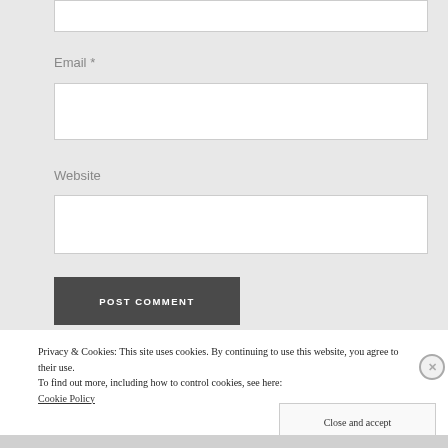Email *
Website
POST COMMENT
Privacy & Cookies: This site uses cookies. By continuing to use this website, you agree to their use.
To find out more, including how to control cookies, see here:
Cookie Policy
Close and accept